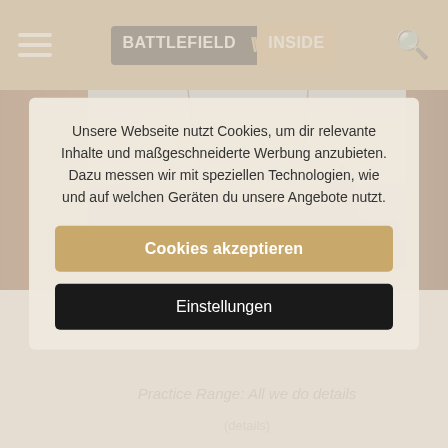BATTLEFIELD INSIDE
[Figure (photo): Screenshot of a Battlefield game showing a soldier operating a tank/anti-aircraft gun in an urban environment with a building in the background]
Unsere Webseite nutzt Cookies, um dir relevante Inhalte und maßgeschneiderte Werbung anzubieten. Dazu messen wir mit speziellen Technologien, wie und auf welchen Geräten du unsere Angebote nutzt.
Practice Range Improvements and Features
Cookies akzeptieren
Einstellungen
Practice Range: All we do details